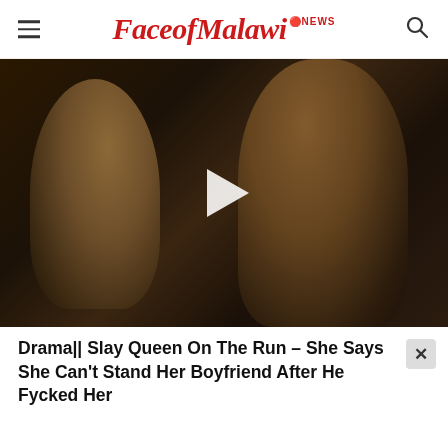FaceofMalawi NEWS
[Figure (photo): Dark video thumbnail showing two people in dim lighting with a white play button triangle overlay in the center]
Drama|| Slay Queen On The Run – She Says She Can't Stand Her Boyfriend After He Fycked Her